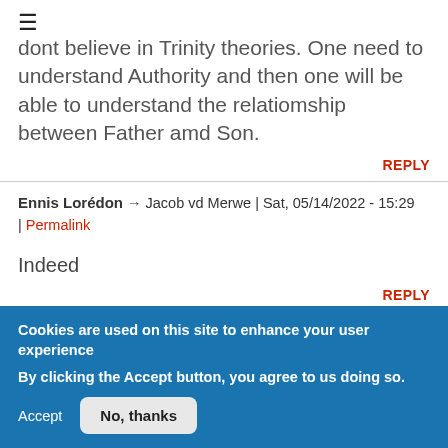dont believe in Trinity theories. One need to understand Authority and then one will be able to understand the relatiomship between Father amd Son.
REPLY
Ennis Lorédon → Jacob vd Merwe | Sat, 05/14/2022 - 15:29 | Permalink
Indeed
REPLY
Cookies are used on this site to enhance your user experience
By clicking the Accept button, you agree to us doing so.
Accept  No, thanks